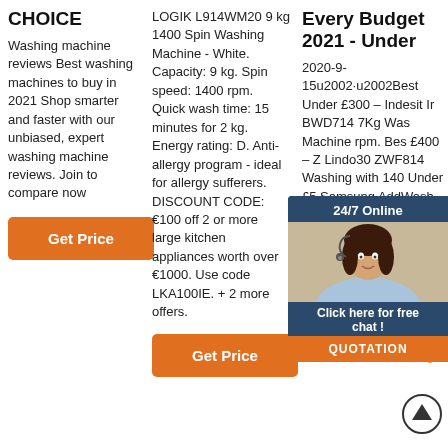CHOICE
Washing machine reviews Best washing machines to buy in 2021 Shop smarter and faster with our unbiased, expert washing machine reviews. Join to compare now
Get Price
LOGIK L914WM20 9 kg 1400 Spin Washing Machine - White. Capacity: 9 kg. Spin speed: 1400 rpm. Quick wash time: 15 minutes for 2 kg. Energy rating: D. Anti-allergy program - ideal for allergy sufferers. DISCOUNT CODE: €100 off 2 or more large kitchen appliances worth over €1000. Use code LKA100IE. + 2 more offers.
Get Price
Every Budget 2021 - Under
2020-9-15u2002·u2002Best Under £300 – Indesit Ir BWD714 7Kg Was Machine rpm. Bes £400 – Z Lindo30 ZWF814 Washing with 140 Under £5 Samsung AddWash ecobubble WW80K6414QX 8Kg Washing Machine with 1400 rpm. Best Sma pick – Siemens 700 WM16XGH1GB
[Figure (photo): Chat widget with female customer service agent, '24/7 Online' header, 'Click here for free chat!' text, and orange QUOTATION button]
[Figure (other): Scroll to top circular icon with upward arrow, with red/orange confetti dots nearby]